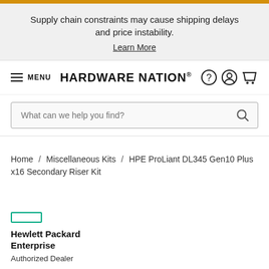Supply chain constraints may cause shipping delays and price instability. Learn More
HARDWARE NATION®
What can we help you find?
Home / Miscellaneous Kits / HPE ProLiant DL345 Gen10 Plus x16 Secondary Riser Kit
[Figure (logo): Hewlett Packard Enterprise logo badge (green rectangle) with text: Hewlett Packard Enterprise Authorized Dealer]